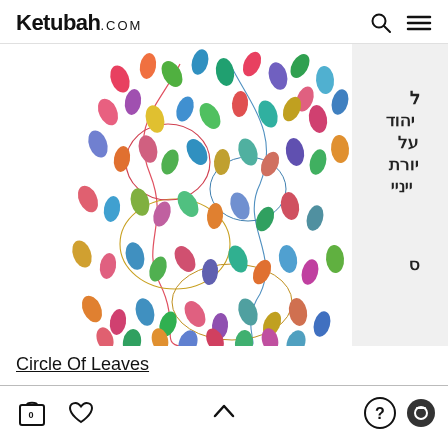Ketubah.com
[Figure (photo): Close-up photo of a Ketubah artwork called Circle Of Leaves, showing colorful watercolor leaves in rainbow colors (red, pink, orange, yellow, green, blue, purple) on thin curling vine tendrils with spiral loops, on a white background. Right side partially shows Hebrew calligraphy text in black ink.]
Circle Of Leaves
Cart (0), Wishlist, Scroll up, Help, Camera